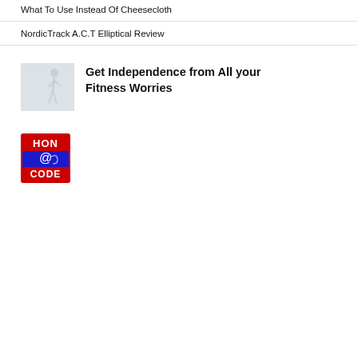What To Use Instead Of Cheesecloth
NordicTrack A.C.T Elliptical Review
[Figure (photo): Faded/light image of a person running or exercising outdoors]
Get Independence from All your Fitness Worries
[Figure (logo): HON @code badge logo — red and blue square badge with HON, @, and CODE text]